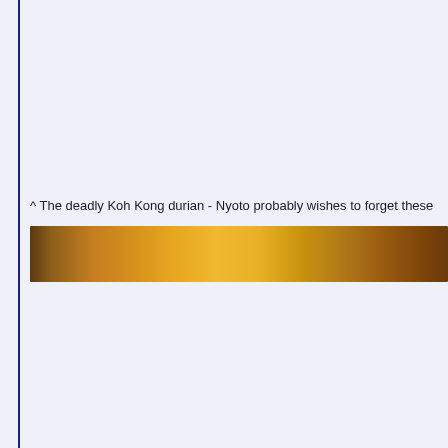^ The deadly Koh Kong durian - Nyoto probably wishes to forget these
[Figure (photo): A horizontal strip photograph showing a wooden surface or object, with warm golden-brown tones suggesting a wooden table or durian-related item, partially cropped at right edge.]